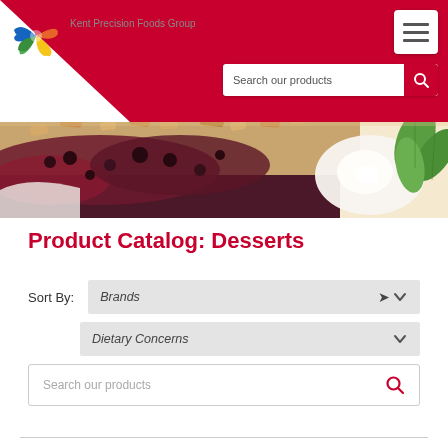Kent Precision Foods Group Foodservice
[Figure (screenshot): Website header with Kent Precision Foods Group Foodservice logo, red triangle background, hamburger menu, and search bar. Below is a food photo showing a berry crumble dessert with whipped cream and mint garnish.]
Product Catalog: Desserts
Sort By: Brands
Dietary Concerns
Search our products